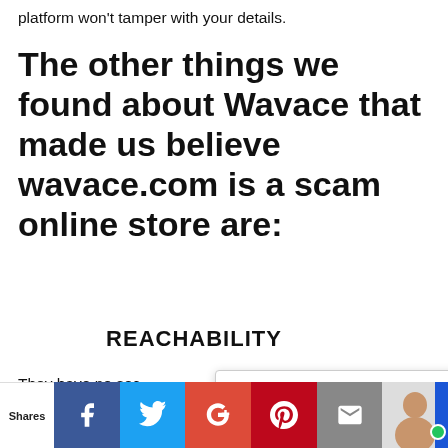platform won't tamper with your details.
The other things we found about Wavace that made us believe wavace.com is a scam online store are:
REACHABILITY
They have no soc… Trustworthy store… means to advertise their wares and also connect to their customers. They even
[Figure (screenshot): MyChargeBack Verification Chat popup overlay with close button]